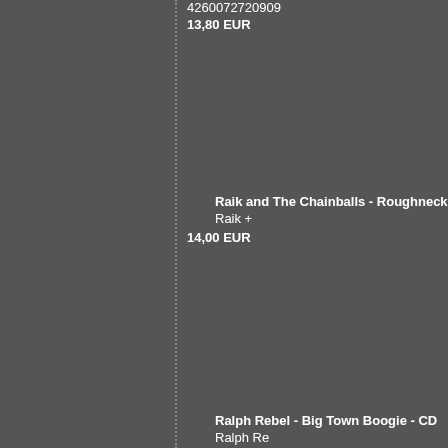4260072720909
13,80 EUR
Raik and The Chainballs - Roughneck Raik +
14,00 EUR
Ralph Rebel - Big Town Boogie - CD Ralph Re Golly Gee Records GGR 1003
15,00 EUR
Ralph Rebel - Rockabilly Vampire - CD Ralph Golly Gee Records GGR1004
18,00 EUR